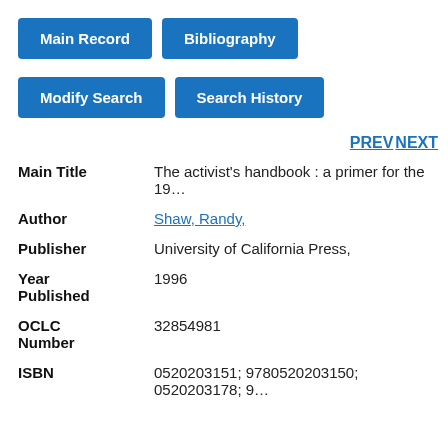Main Record | Bibliography
Modify Search | Search History
PREV NEXT
| Field | Value |
| --- | --- |
| Main Title | The activist's handbook : a primer for the 19… |
| Author | Shaw, Randy, |
| Publisher | University of California Press, |
| Year Published | 1996 |
| OCLC Number | 32854981 |
| ISBN | 0520203151; 9780520203150; 0520203178; 9… |